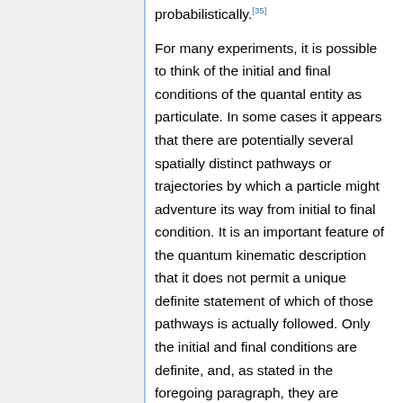probabilistically.[35]
For many experiments, it is possible to think of the initial and final conditions of the quantal entity as particulate. In some cases it appears that there are potentially several spatially distinct pathways or trajectories by which a particle might adventure its way from initial to final condition. It is an important feature of the quantum kinematic description that it does not permit a unique definite statement of which of those pathways is actually followed. Only the initial and final conditions are definite, and, as stated in the foregoing paragraph, they are defined only as precisely as allowed by the configuration space description or its equivalent. In every case for which a quantum kinematic description is needed, there is